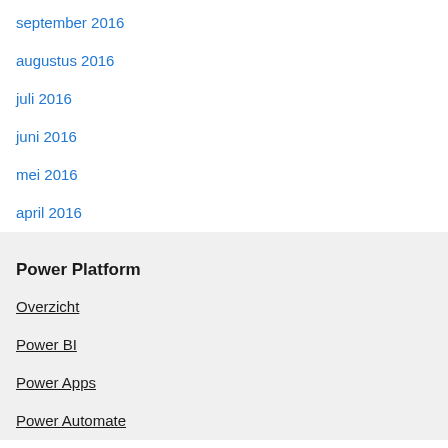september 2016
augustus 2016
juli 2016
juni 2016
mei 2016
april 2016
Power Platform
Overzicht
Power BI
Power Apps
Power Automate